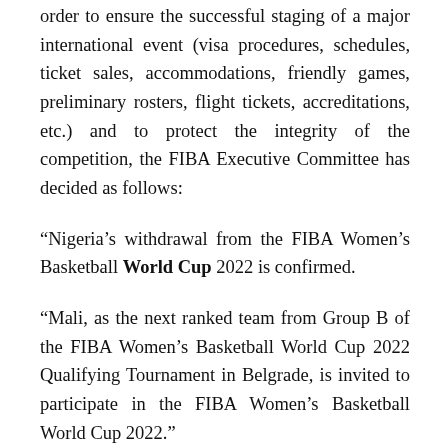order to ensure the successful staging of a major international event (visa procedures, schedules, ticket sales, accommodations, friendly games, preliminary rosters, flight tickets, accreditations, etc.) and to protect the integrity of the competition, the FIBA Executive Committee has decided as follows:
“Nigeria’s withdrawal from the FIBA Women’s Basketball World Cup 2022 is confirmed.
“Mali, as the next ranked team from Group B of the FIBA Women’s Basketball World Cup 2022 Qualifying Tournament in Belgrade, is invited to participate in the FIBA Women’s Basketball World Cup 2022.”
Watch Leakblast TV channel from